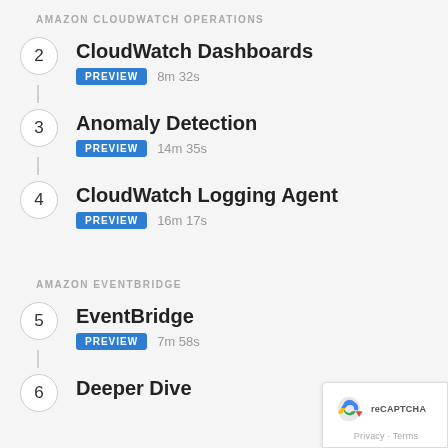AMAZON CLOUDWATCH OPERATIONS
2  CloudWatch Dashboards  PREVIEW  8m 32s
3  Anomaly Detection  PREVIEW  14m 35s
4  CloudWatch Logging Agent  PREVIEW  16m 17s
AMAZON EVENTBRIDGE
5  EventBridge  PREVIEW  7m 58s
6  Deeper Dive